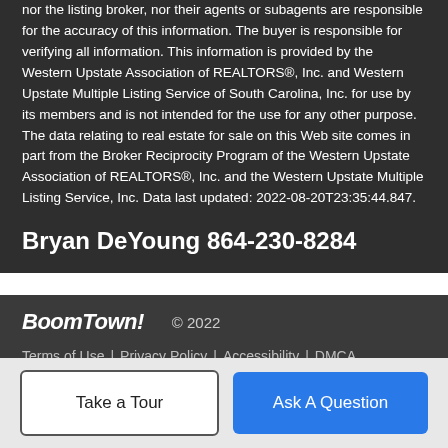nor the listing broker, nor their agents or subagents are responsible for the accuracy of this information. The buyer is responsible for verifying all information. This information is provided by the Western Upstate Association of REALTORS®, Inc. and Western Upstate Multiple Listing Service of South Carolina, Inc. for use by its members and is not intended for the use for any other purpose. The data relating to real estate for sale on this Web site comes in part from the Broker Reciprocity Program of the Western Upstate Association of REALTORS®, Inc. and the Western Upstate Multiple Listing Service, Inc. Data last updated: 2022-08-20T23:35:44.847.
Bryan DeYoung 864-230-8284
BoomTown! © 2022 | Terms of Use | Privacy Policy | Accessibility | DMCA | Listings Sitemap
Take a Tour
Ask A Question